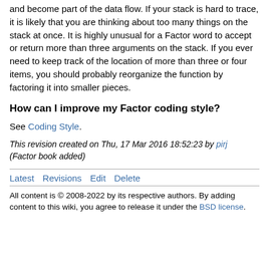and become part of the data flow. If your stack is hard to trace, it is likely that you are thinking about too many things on the stack at once. It is highly unusual for a Factor word to accept or return more than three arguments on the stack. If you ever need to keep track of the location of more than three or four items, you should probably reorganize the function by factoring it into smaller pieces.
How can I improve my Factor coding style?
See Coding Style.
This revision created on Thu, 17 Mar 2016 18:52:23 by pirj (Factor book added)
Latest   Revisions   Edit   Delete
All content is © 2008-2022 by its respective authors. By adding content to this wiki, you agree to release it under the BSD license.